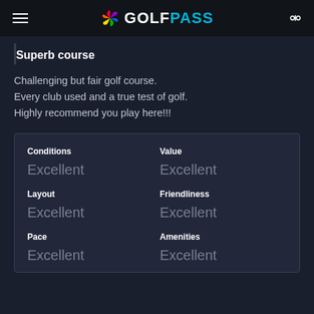GOLFPASS
Superb course
Challenging but fair golf course. Every club used and a true test of golf. Highly recommend you play here!!!
| Category | Rating |
| --- | --- |
| Conditions | Excellent |
| Value | Excellent |
| Layout | Excellent |
| Friendliness | Excellent |
| Pace | Excellent |
| Amenities | Excellent |